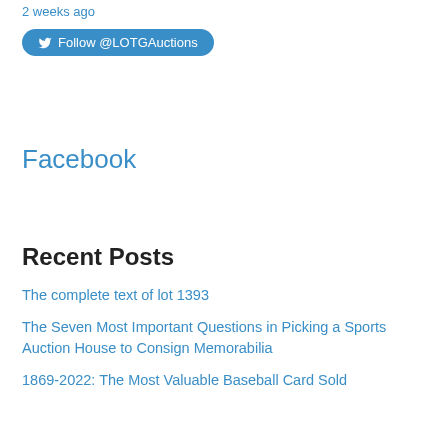2 weeks ago
Follow @LOTGAuctions
Facebook
Recent Posts
The complete text of lot 1393
The Seven Most Important Questions in Picking a Sports Auction House to Consign Memorabilia
1869-2022: The Most Valuable Baseball Card Sold